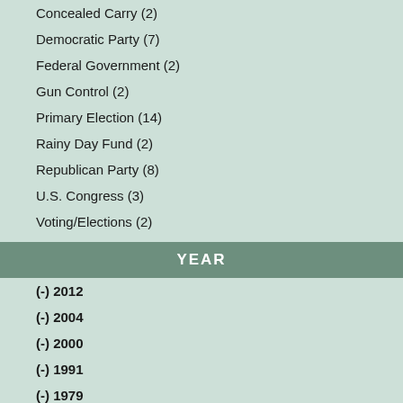Concealed Carry (2)
Democratic Party (7)
Federal Government (2)
Gun Control (2)
Primary Election (14)
Rainy Day Fund (2)
Republican Party (8)
U.S. Congress (3)
Voting/Elections (2)
YEAR
(-) 2012
(-) 2004
(-) 2000
(-) 1991
(-) 1979
2016 (1)
2008 (2)
1996 (2)